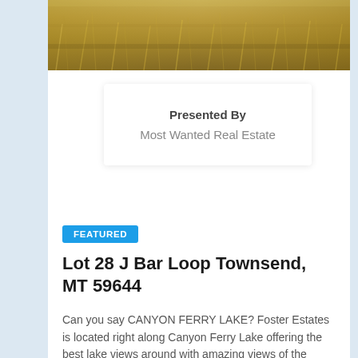[Figure (photo): Aerial/ground-level photo of wild golden-brown grass or prairie vegetation filling the top strip of the page]
Presented By
Most Wanted Real Estate
FEATURED
Lot 28 J Bar Loop Townsend, MT 59644
Can you say CANYON FERRY LAKE? Foster Estates is located right along Canyon Ferry Lake offering the best lake views around with amazing views of the Elkhorn Mountain Range